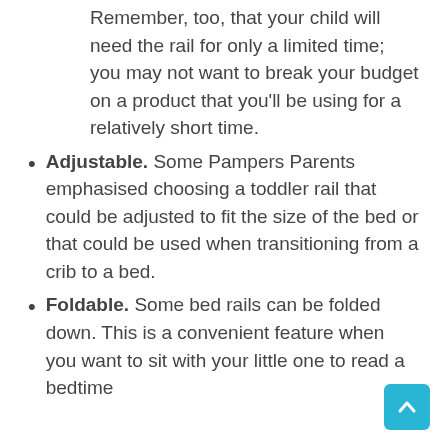Remember, too, that your child will need the rail for only a limited time; you may not want to break your budget on a product that you'll be using for a relatively short time.
Adjustable. Some Pampers Parents emphasised choosing a toddler rail that could be adjusted to fit the size of the bed or that could be used when transitioning from a crib to a bed.
Foldable. Some bed rails can be folded down. This is a convenient feature when you want to sit with your little one to read a bedtime